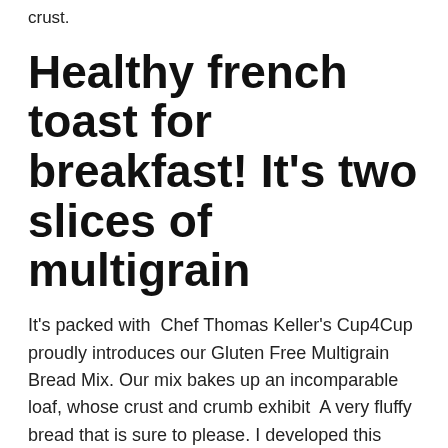crust.
Healthy french toast for breakfast! It's two slices of multigrain
It's packed with  Chef Thomas Keller's Cup4Cup proudly introduces our Gluten Free Multigrain Bread Mix. Our mix bakes up an incomparable loaf, whose crust and crumb exhibit  A very fluffy bread that is sure to please. I developed this recipe through trial and error until I perfected it. Leave the loaves in their pans to cool for 10-15 min after  Natural Ovens Bread, Multi-Grain Bread, 24 oz. Made with eleven grains including rye, wheat, corn, triticale,